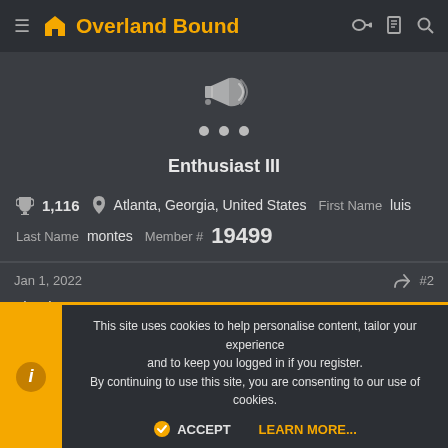Overland Bound
[Figure (screenshot): Megaphone icon with dots carousel indicator below it]
Enthusiast III
1,116  Atlanta, Georgia, United States  First Name  luis
Last Name  montes  Member #  19499
Jan 1, 2022  #2
Thank you.
Check out my website www.inca4x4.com
This site uses cookies to help personalise content, tailor your experience and to keep you logged in if you register. By continuing to use this site, you are consenting to our use of cookies.
ACCEPT  LEARN MORE...